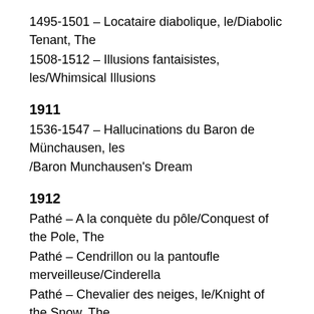1495-1501 – Locataire diabolique, le/Diabolic Tenant, The
1508-1512 – Illusions fantaisistes, les/Whimsical Illusions
1911
1536-1547 – Hallucinations du Baron de Münchausen, les /Baron Munchausen's Dream
1912
Pathé – A la conquète du pôle/Conquest of the Pole, The
Pathé – Cendrillon ou la pantoufle merveilleuse/Cinderella
Pathé – Chevalier des neiges, le/Knight of the Snow, The
1913
Pathé – Voyage de la famille Bourrichon, le/Voyage of the Bourichon Family, The
Almost needless to say, the quality of the digital transfers is excellent, sometimes startlingly so. There are fifteen